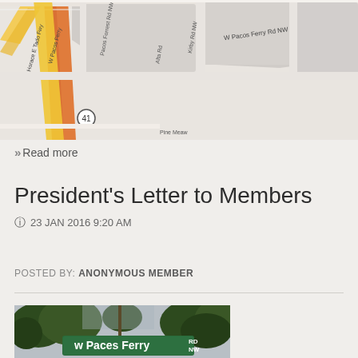[Figure (map): Street map showing W Paces Ferry Rd NW area, with roads including Horace E Tado Fwy, W Pacos Ferry, Pacos Forrest Rd NW, Alta Rd, Kirby Rd NW, Pine Meaw. Yellow highlighted roads visible.]
>> Read more
President's Letter to Members
23 JAN 2016 9:20 AM
POSTED BY: ANONYMOUS MEMBER
[Figure (photo): Street sign photo showing 'W Paces Ferry RD NW' green street sign against trees and sky background]